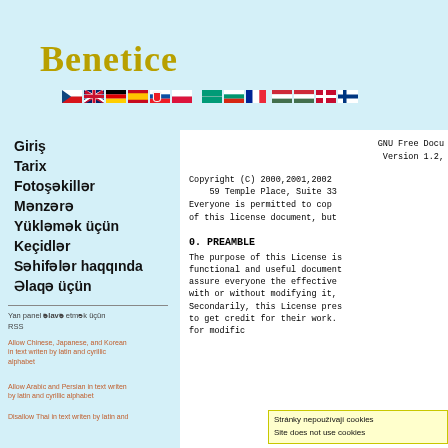Benetice
[Figure (illustration): Row of country flag icons]
Giriş
Tarix
Fotoşəkillər
Mənzərə
Yükləmək üçün
Keçidlər
Səhifələr haqqında
Əlaqə üçün
Yan panel əlavə etmək üçün
RSS
Allow Chinese, Japanese, and Korean in text writen by latin and cyrillic alphabet
Allow Arabic and Persian in text writen by latin and cyrillic alphabet
Disallow Thai in text writen by latin and
GNU Free Docu
Version 1.2,
Copyright (C) 2000,2001,2002
59 Temple Place, Suite 33
Everyone is permitted to cop
of this license document, but
0. PREAMBLE
The purpose of this License is
functional and useful document
assure everyone the effective
with or without modifying it,
Secondarily, this License pres
to get credit for their work.
for modific
Stránky nepoužívají cookies
Site does not use cookies